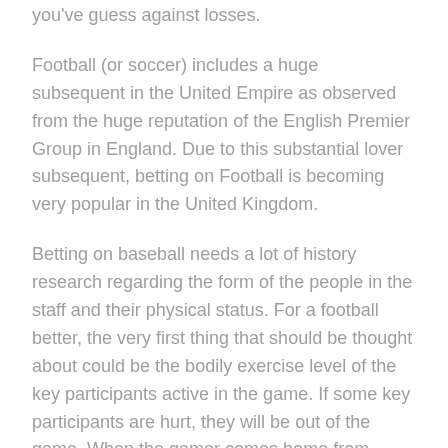you've guess against losses.
Football (or soccer) includes a huge subsequent in the United Empire as observed from the huge reputation of the English Premier Group in England. Due to this substantial lover subsequent, betting on Football is becoming very popular in the United Kingdom.
Betting on baseball needs a lot of history research regarding the form of the people in the staff and their physical status. For a football better, the very first thing that should be thought about could be the bodily exercise level of the key participants active in the game. If some key participants are hurt, they will be out of the game. When the gamer comes home from harm, he may not be playing at the same stage as he was prior to the injury. This will influence the outcome of the game. Bettors can get information regarding the fitness of the players through some conditioning related web sites by searching online.